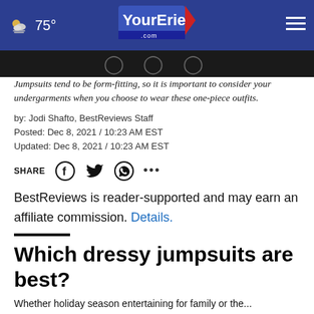75° YourErie.com
Jumpsuits tend to be form-fitting, so it is important to consider your undergarments when you choose to wear these one-piece outfits.
by: Jodi Shafto, BestReviews Staff
Posted: Dec 8, 2021 / 10:23 AM EST
Updated: Dec 8, 2021 / 10:23 AM EST
SHARE
BestReviews is reader-supported and may earn an affiliate commission. Details.
Which dressy jumpsuits are best?
Whether holiday season entertaining for family or the...